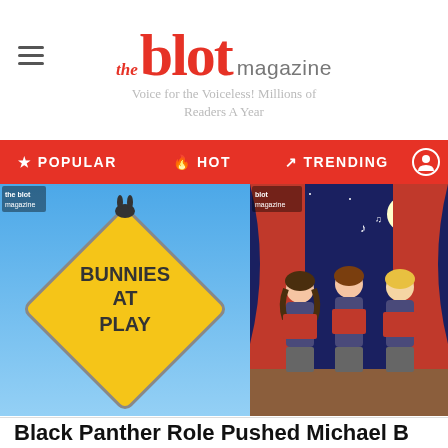the blot magazine — Voice for the Voiceless! Millions of Readers A Year
POPULAR  HOT  TRENDING
[Figure (photo): Yellow diamond-shaped road sign reading 'BUNNIES AT PLAY' with a bunny silhouette on top, against a blue sky background. The Blot Magazine watermark in top-left corner.]
[Figure (illustration): Anime-style cartoon of three children in choir uniforms holding red books, performing on a stage with red curtains and a night sky background. The Blot Magazine watermark in top-left corner.]
Black Panther Role Pushed Michael B Jordan into Therapy